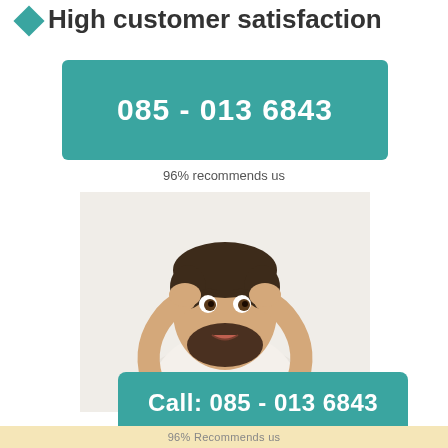High customer satisfaction
085 - 013 6843
96% recommends us
[Figure (photo): A bearded man in a white t-shirt holding his head with both hands, looking stressed or worried, on a white background.]
Call: 085 - 013 6843
96% Recommends us